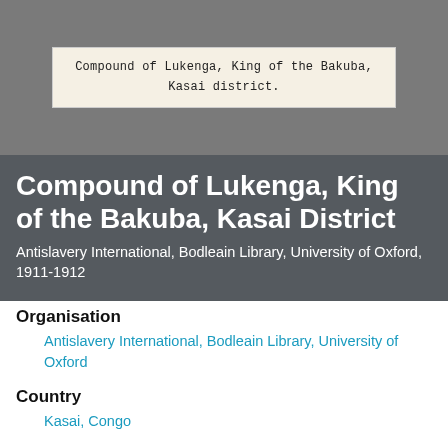[Figure (photo): Scanned label card on grey background reading: Compound of Lukenga, King of the Bakuba, Kasai district.]
Compound of Lukenga, King of the Bakuba, Kasai District
Antislavery International, Bodleain Library, University of Oxford, 1911-1912
Organisation
Antislavery International, Bodleain Library, University of Oxford
Country
Kasai, Congo
Theme
Women, Photography, Colonialism